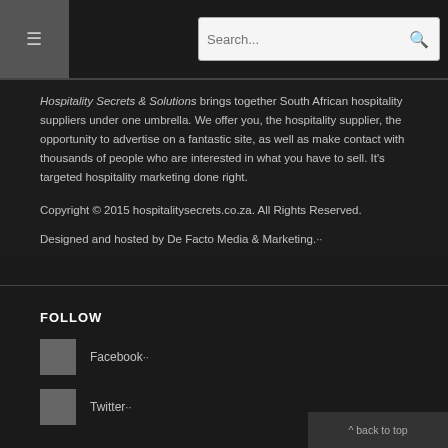[Figure (screenshot): Navigation header bar with dark background menu button on the left and a search box on the right]
Hospitality Secrets & Solutions brings together South African hospitality suppliers under one umbrella. We offer you, the hospitality supplier, the opportunity to advertise on a fantastic site, as well as make contact with thousands of people who are interested in what you have to sell. It's targeted hospitality marketing done right.
Copyright © 2015 hospitalitysecrets.co.za. All Rights Reserved.
Designed and hosted by De Facto Media & Marketing.
FOLLOW
Facebook
Twitter
^ back to top